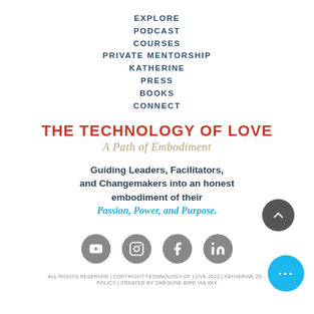EXPLORE
PODCAST
COURSES
PRIVATE MENTORSHIP
KATHERINE
PRESS
BOOKS
CONNECT
THE TECHNOLOGY OF LOVE
A Path of Embodiment
Guiding Leaders, Facilitators, and Changemakers into an honest embodiment of their Passion, Power, and Purpose.
[Figure (other): Social media icons: YouTube, Instagram, Facebook, LinkedIn in circular grey buttons]
ALL RIGHTS RESERVED | COPYRIGHT TECHNOLOGY OF LOVE 2022 | KATHERINE 20... POLICY | CREATED BY CAROLINE BIRD VIA WIX